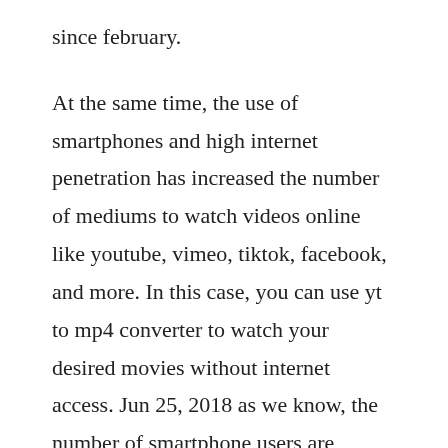since february.
At the same time, the use of smartphones and high internet penetration has increased the number of mediums to watch videos online like youtube, vimeo, tiktok, facebook, and more. In this case, you can use yt to mp4 converter to watch your desired movies without internet access. Jun 25, 2018 as we know, the number of smartphone users are increasing day by day, and majority of these people prefer to using the android phones like samsung galaxy s9, samsung note 8 etc. Jan